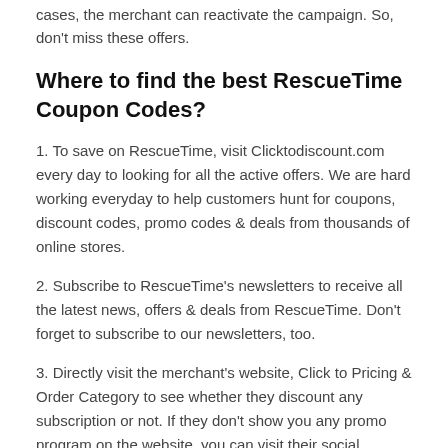cases, the merchant can reactivate the campaign. So, don't miss these offers.
Where to find the best RescueTime Coupon Codes?
1. To save on RescueTime, visit Clicktodiscount.com every day to looking for all the active offers. We are hard working everyday to help customers hunt for coupons, discount codes, promo codes & deals from thousands of online stores.
2. Subscribe to RescueTime's newsletters to receive all the latest news, offers & deals from RescueTime. Don't forget to subscribe to our newsletters, too.
3. Directly visit the merchant's website, Click to Pricing & Order Category to see whether they discount any subscription or not. If they don't show you any promo program on the website, you can visit their social networks such as Facebook, Twitter, Tumblr, etc.
COUPON INTO YOUR INBOX